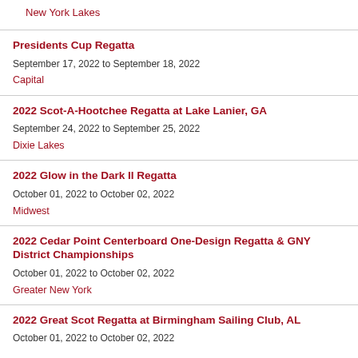New York Lakes
Presidents Cup Regatta
September 17, 2022 to September 18, 2022
Capital
2022 Scot-A-Hootchee Regatta at Lake Lanier, GA
September 24, 2022 to September 25, 2022
Dixie Lakes
2022 Glow in the Dark II Regatta
October 01, 2022 to October 02, 2022
Midwest
2022 Cedar Point Centerboard One-Design Regatta & GNY District Championships
October 01, 2022 to October 02, 2022
Greater New York
2022 Great Scot Regatta at Birmingham Sailing Club, AL
October 01, 2022 to October 02, 2022